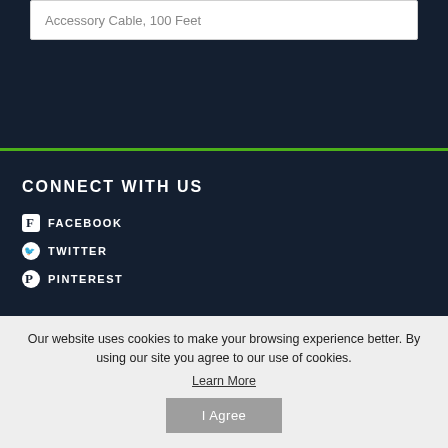Accessory Cable, 100 Feet
CONNECT WITH US
FACEBOOK
TWITTER
PINTEREST
Our website uses cookies to make your browsing experience better. By using our site you agree to our use of cookies.
Learn More
I Agree